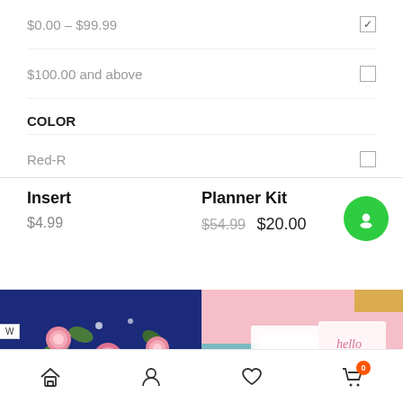$0.00 – $99.99
$100.00 and above
COLOR
Red-R
Insert
$4.99
Planner Kit
$54.99  $20.00
[Figure (photo): Dark navy blue fabric with pink roses and green leaves floral pattern]
[Figure (photo): Pink background with white paper/stationery items and a 'hello' card]
Home | Account | Wishlist | Cart (0)